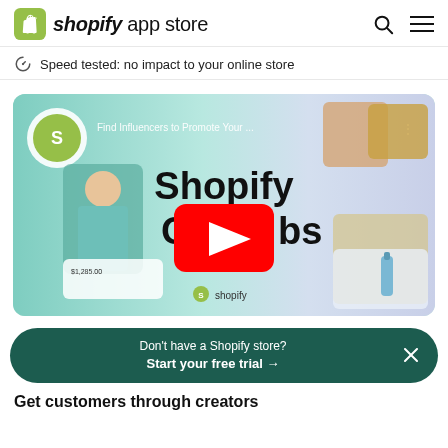shopify app store
Speed tested: no impact to your online store
[Figure (screenshot): YouTube video thumbnail for Shopify Collabs showing 'Find Influencers to Promote Your...' with a large YouTube play button overlay. Text reads 'Shopify Collabs for brands' with the Shopify logo. Features images of lifestyle influencers and product photos.]
Don't have a Shopify store? Start your free trial →
Get customers through creators